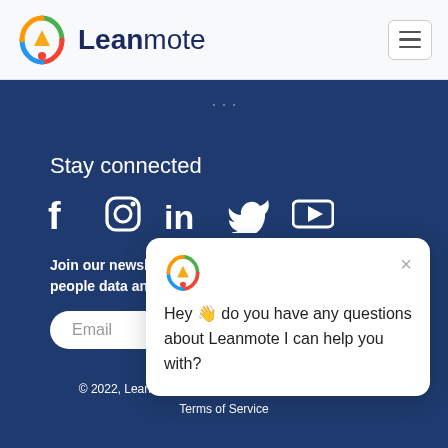[Figure (logo): Leanmote logo with colorful hexagon icon and dark blue text 'Leanmote']
[Figure (screenshot): Hamburger menu button (three horizontal lines in a bordered box)]
Stay connected
[Figure (infographic): Social media icons row: Facebook, Instagram, LinkedIn, Twitter, YouTube]
Join our newsletter an... people data and Lean...
[Figure (screenshot): Email input field with placeholder 'Email']
[Figure (screenshot): Chat popup with Leanmote logo icon, X close button, and message: Hey 👋 do you have any questions about Leanmote I can help you with?]
© 2022, Leanmote | All rights reserved. Privacy policy | Terms of Service